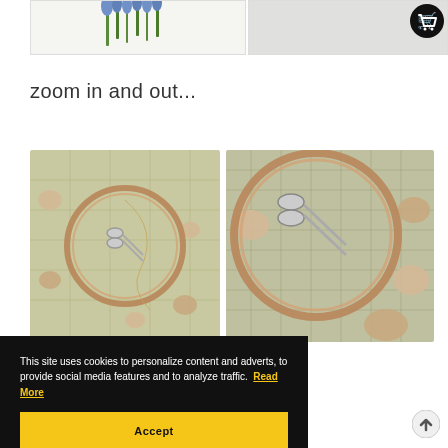[Figure (photo): Partial view of blue/purple flowers (muscari) against white background, top-left area]
[Figure (photo): Light grey/empty image panel, top-right area]
[Figure (logo): Shopping cart icon, dark circle with white cart symbol, top-right corner]
zoom in and out...
[Figure (photo): Craft flat-lay: embroidery hoop with scissors on vintage map background with seashells, zoomed-out view]
[Figure (photo): Craft flat-lay: same embroidery hoop with scissors on vintage map background with seashells, zoomed-in view]
This site uses cookies to personalize content and adverts, to provide social media features and to analyze traffic.  Read More
Accept
[Figure (other): Back to top arrow icon, bottom-right corner]